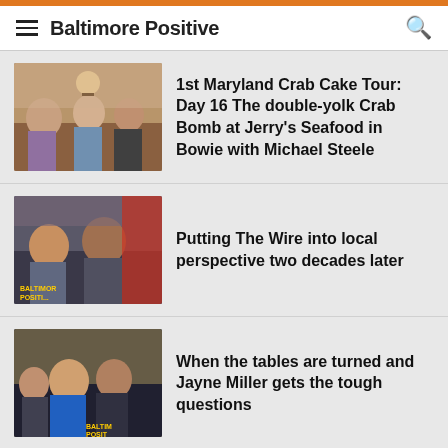Baltimore Positive
1st Maryland Crab Cake Tour: Day 16 The double-yolk Crab Bomb at Jerry's Seafood in Bowie with Michael Steele
Putting The Wire into local perspective two decades later
When the tables are turned and Jayne Miller gets the tough questions
All hail four decades of brilliant local journalism from Jayne Miller